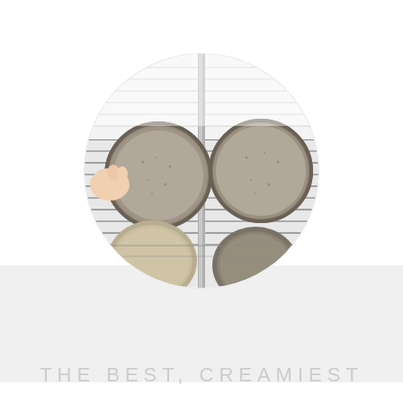[Figure (photo): A circular cropped photo showing round baking pans or tart tins on a wire cooling rack, viewed from above. A hand is visible on the left holding one pan. The pans have a grainy/sandy textured surface in shades of gray-brown. Multiple pans are visible arranged on the metal grid rack.]
THE BEST, CREAMIEST